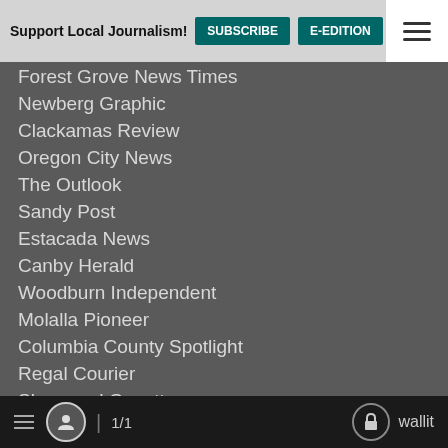Support Local Journalism! | SUBSCRIBE | E-EDITION | NEWSLET...
Forest Grove News Times
Newberg Graphic
Clackamas Review
Oregon City News
The Outlook
Sandy Post
Estacada News
Canby Herald
Woodburn Independent
Molalla Pioneer
Columbia County Spotlight
Regal Courier
Sherwood Gazette
The Bee
Southwest Community Connection
Central Oregon
Madras Pioneer
≡  👤  1/1   🔓 wallit